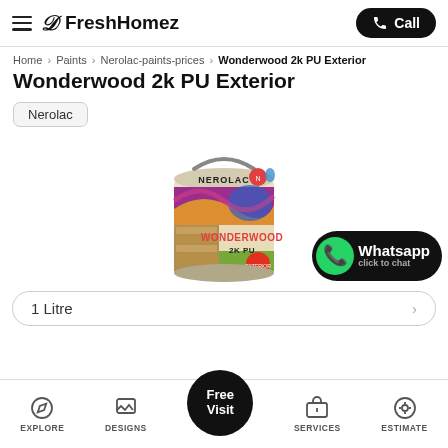FreshHomez — Call
Home > Paints > Nerolac-paints-prices > Wonderwood 2k PU Exterior
Wonderwood 2k PU Exterior
Nerolac
[Figure (photo): Nerolac Wonderwood 2K PU paint can with purple, gold and blue label showing wood finish scenes]
1 Litre
Whatsapp click to chat
EXPLORE | DESIGNS | Free Visit | SERVICES | ESTIMATE